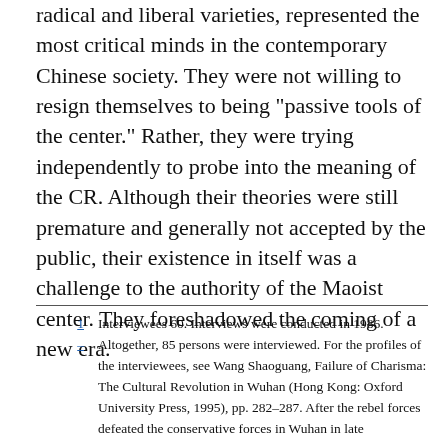radical and liberal varieties, represented the most critical minds in the contemporary Chinese society. They were not willing to resign themselves to being "passive tools of the center." Rather, they were trying independently to probe into the meaning of the CR. Although their theories were still premature and generally not accepted by the public, their existence in itself was a challenge to the authority of the Maoist center. They foreshadowed the coming of a new era.
1  Interviewees 60. Interviews were conducted in 1986. Altogether, 85 persons were interviewed. For the profiles of the interviewees, see Wang Shaoguang, Failure of Charisma: The Cultural Revolution in Wuhan (Hong Kong: Oxford University Press, 1995), pp. 282–287. After the rebel forces defeated the conservative forces in Wuhan in late